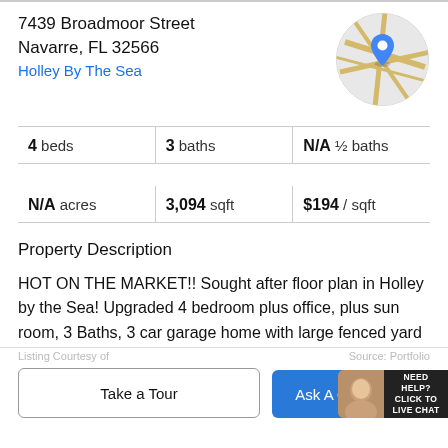7439 Broadmoor Street
Navarre, FL 32566
Holley By The Sea
[Figure (map): Circular map thumbnail showing street map with a blue location pin marker]
|  |  |  |
| --- | --- | --- |
| 4 beds | 3 baths | N/A ½ baths |
| N/A acres | 3,094 sqft | $194 / sqft |
Property Description
HOT ON THE MARKET!! Sought after floor plan in Holley by the Sea! Upgraded 4 bedroom plus office, plus sun room, 3 Baths, 3 car garage home with large fenced yard has it all! Immaculate and Spacious home with many upgrades including high raised ceilings, crown molding,
Take a Tour
Ask A Q...
NEED HELP?
CLICK TO
LIVE CHAT